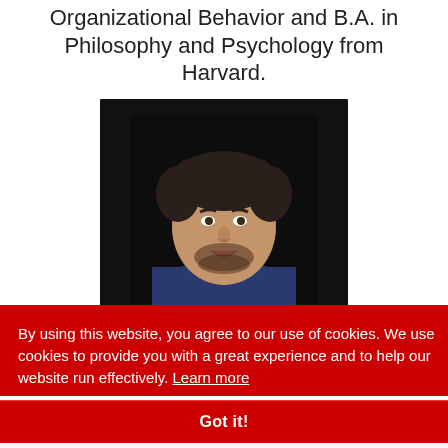Organizational Behavior and B.A. in Philosophy and Psychology from Harvard.
[Figure (photo): Portrait photo of a middle-aged man with curly dark hair and beard, wearing a blue suit jacket, against a dark background.]
By using this website, you agree to our use of cookies. We use cookies to provide you with a great experience and to help our website run effectively.  Learn more
Got it!
combination of 'hard' statistical skills and 'soft'